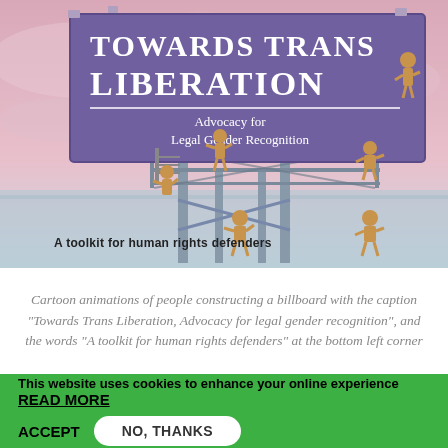[Figure (illustration): Cartoon illustration of people constructing a large purple billboard. The billboard reads 'Towards Trans Liberation' in large white serif text and 'Advocacy for Legal Gender Recognition' in smaller white text. Several cartoon figures in tan/brown are shown on scaffolding and ladders around the billboard. The background is pink/lavender sky. Text at the bottom left reads 'A toolkit for human rights defenders'.]
Cartoon animations of people constructing a billboard with the caption "Towards Trans Liberation, Advocacy for legal gender recognition", and the words "A toolkit for human rights defenders" at the bottom left corner
This website uses cookies to enhance your online experience READ MORE ACCEPT NO, THANKS